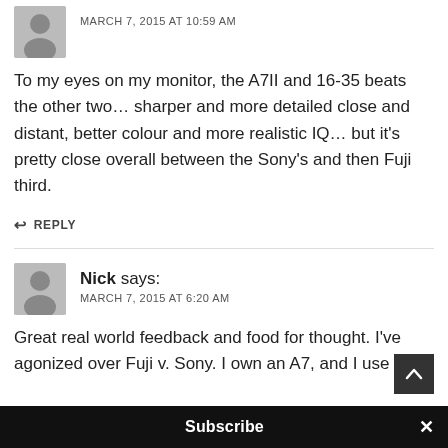MARCH 7, 2015 AT 10:59 AM
To my eyes on my monitor, the A7II and 16-35 beats the other two… sharper and more detailed close and distant, better colour and more realistic IQ… but it’s pretty close overall between the Sony’s and then Fuji third.
↩ REPLY
Nick says: MARCH 7, 2015 AT 6:20 AM
Great real world feedback and food for thought. I’ve agonized over Fuji v. Sony. I own an A7, and I use
Subscribe